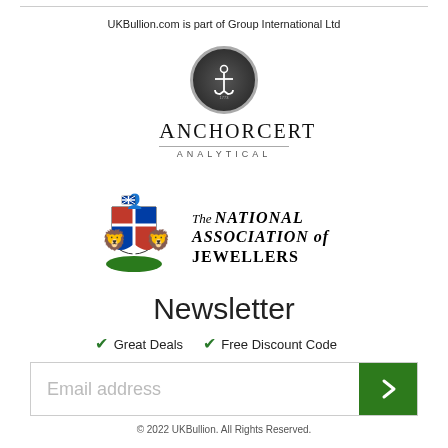UKBullion.com is part of Group International Ltd
[Figure (logo): AnchorCert Analytical logo with anchor icon in dark circle and stylized text]
[Figure (logo): The National Association of Jewellers crest and text logo]
Newsletter
✓ Great Deals  ✓ Free Discount Code
Email address
© 2022 UKBullion. All Rights Reserved.
The opinions of UKBullion.com, its employees, agents or directors should not be relied upon as any implied or explicit guarantee of return. We are not authorised or regulated by the Financial Conduct Authority to provide any investment advice.